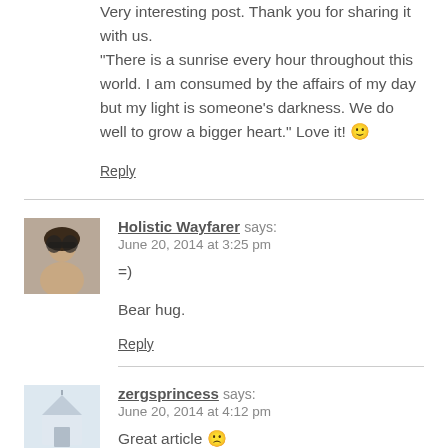Very interesting post. Thank you for sharing it with us. "There is a sunrise every hour throughout this world. I am consumed by the affairs of my day but my light is someone's darkness. We do well to grow a bigger heart." Love it! 🙂
Reply
Holistic Wayfarer says:
June 20, 2014 at 3:25 pm
=)
Bear hug.
Reply
zergsprincess says:
June 20, 2014 at 4:12 pm
Great article 🙁